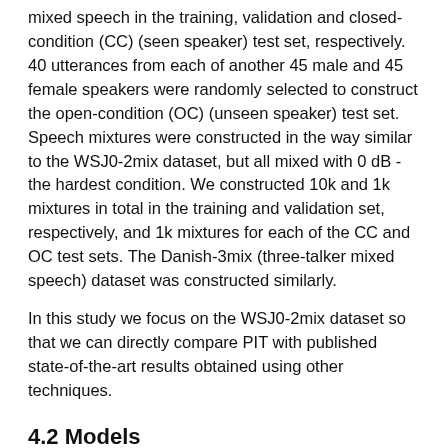mixed speech in the training, validation and closed-condition (CC) (seen speaker) test set, respectively. 40 utterances from each of another 45 male and 45 female speakers were randomly selected to construct the open-condition (OC) (unseen speaker) test set. Speech mixtures were constructed in the way similar to the WSJ0-2mix dataset, but all mixed with 0 dB - the hardest condition. We constructed 10k and 1k mixtures in total in the training and validation set, respectively, and 1k mixtures for each of the CC and OC test sets. The Danish-3mix (three-talker mixed speech) dataset was constructed similarly.
In this study we focus on the WSJ0-2mix dataset so that we can directly compare PIT with published state-of-the-art results obtained using other techniques.
4.2 Models
Our models were implemented using the Microsoft Cognitive Toolkit (CNTK) [28]
. The feed-forward DNN (denoted as DNN) has three hidden layers each with 1024 ReLU units. In (inChannel,